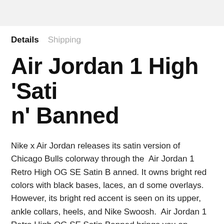Details   Shipping
Air Jordan 1 High 'Satin' Banned
Nike x Air Jordan releases its satin version of Chicago Bulls colorway through the  Air Jordan 1 Retro High OG SE Satin Banned. It owns bright red colors with black bases, laces, and some overlays. However, its bright red accent is seen on its upper, ankle collars, heels, and Nike Swoosh.  Air Jordan 1 Retro High OG SE Satin Banned brings you an innovative construction that made it unique among other pairs. But